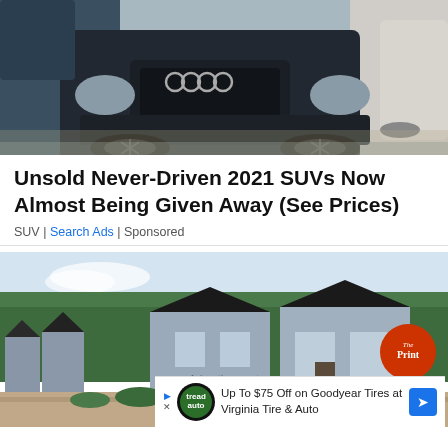[Figure (photo): Photo of parked cars including a dark Audi SUV in a lot, seen from front at low angle]
Unsold Never-Driven 2021 SUVs Now Almost Being Given Away (See Prices)
SUV | Search Ads | Sponsored
[Figure (photo): Photo of a row of small modern tiny homes or cabins with grey-blue siding and dark roofs, with trees in background; The Print logo badge visible; advertisement overlay at bottom for Virginia Tire & Auto Goodyear tires]
Up To $75 Off on Goodyear Tires at Virginia Tire & Auto